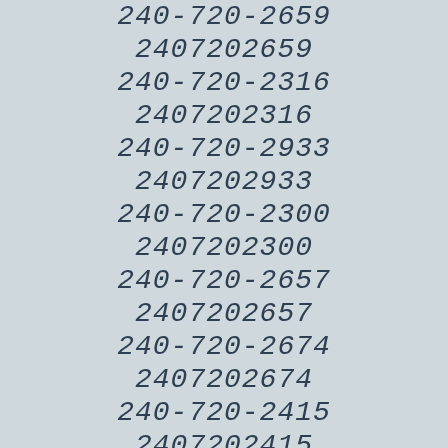240-720-2659
2407202659
240-720-2316
2407202316
240-720-2933
2407202933
240-720-2300
2407202300
240-720-2657
2407202657
240-720-2674
2407202674
240-720-2415
2407202415
240-720-2608
2407202608